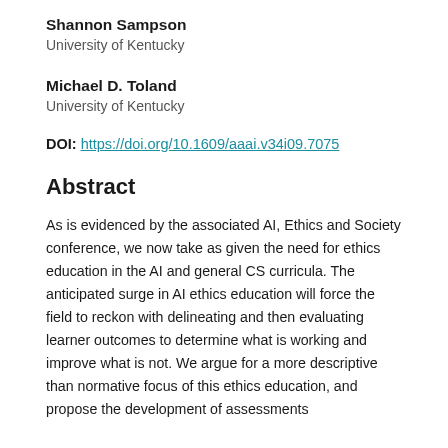Shannon Sampson
University of Kentucky
Michael D. Toland
University of Kentucky
DOI: https://doi.org/10.1609/aaai.v34i09.7075
Abstract
As is evidenced by the associated AI, Ethics and Society conference, we now take as given the need for ethics education in the AI and general CS curricula. The anticipated surge in AI ethics education will force the field to reckon with delineating and then evaluating learner outcomes to determine what is working and improve what is not. We argue for a more descriptive than normative focus of this ethics education, and propose the development of assessments